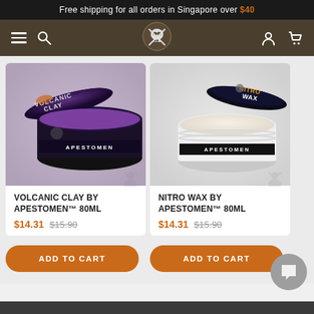Free shipping for all orders in Singapore over $40
[Figure (screenshot): Navigation bar with hamburger menu, search icon, Apestomen skull logo, user icon, and cart icon on dark brown background]
[Figure (photo): Volcanic Clay by Apestomen product - dark tin with purple clay hair product, lid open showing purple content]
VOLCANIC CLAY BY APESTOMEN™ 80ML
$14.31 $15.90
[Figure (photo): Nitro Wax by Apestomen product - white tin with dark lid showing cream/white hair wax]
NITRO WAX BY APESTOMEN™ 80ML
$14.31 $15.90
ADD TO CART
ADD TO CART